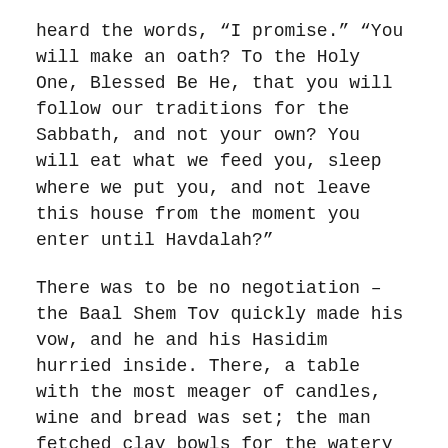heard the words, “I promise.” “You will make an oath? To the Holy One, Blessed Be He, that you will follow our traditions for the Sabbath, and not your own? You will eat what we feed you, sleep where we put you, and not leave this house from the moment you enter until Havdalah?”
There was to be no negotiation – the Baal Shem Tov quickly made his vow, and he and his Hasidim hurried inside. There, a table with the most meager of candles, wine and bread was set; the man fetched clay bowls for the watery soup, and called to his wife, in the other room, to come light the candles.
“Not tonight,” she cackled back. “I will not be seen by these uncouth men.”